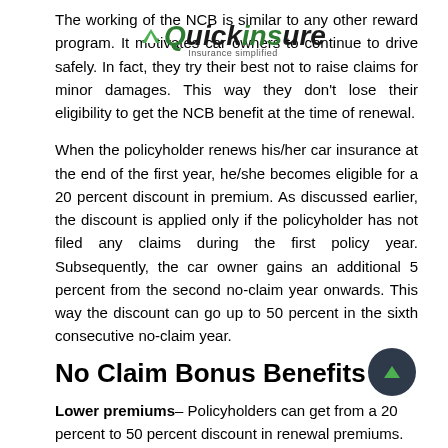[Figure (logo): Quickinsure logo with green arrow and tagline 'Insurance simplified']
The working of the NCB is similar to any other reward program. It motivates car owners to continue to drive safely. In fact, they try their best not to raise claims for minor damages. This way they don't lose their eligibility to get the NCB benefit at the time of renewal.
When the policyholder renews his/her car insurance at the end of the first year, he/she becomes eligible for a 20 percent discount in premium. As discussed earlier, the discount is applied only if the policyholder has not filed any claims during the first policy year. Subsequently, the car owner gains an additional 5 percent from the second no-claim year onwards. This way the discount can go up to 50 percent in the sixth consecutive no-claim year.
No Claim Bonus Benefits
Lower premiums– Policyholders can get from a 20 percent to 50 percent discount in renewal premiums.
Earn rewards– The NCB is nothing but a reward for taking good care of the car and driving safely.